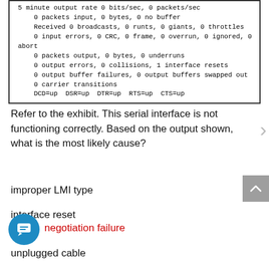[Figure (screenshot): Code/terminal output box showing network interface statistics: 5 minute output rate lines, packets input/output, errors, DCD/DSR/DTR/RTS/CTS status]
Refer to the exhibit. This serial interface is not functioning correctly. Based on the output shown, what is the most likely cause?
improper LMI type
interface reset
negotiation failure
unplugged cable